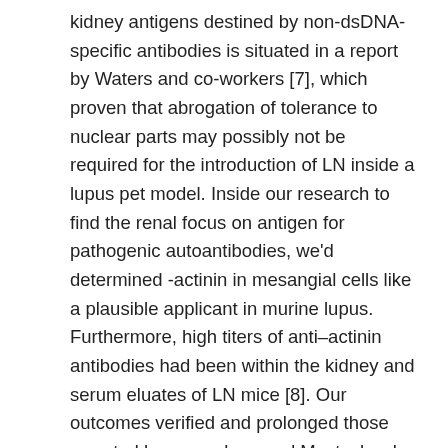kidney antigens destined by non-dsDNA-specific antibodies is situated in a report by Waters and co-workers [7], which proven that abrogation of tolerance to nuclear parts may possibly not be required for the introduction of LN inside a lupus pet model. Inside our research to find the renal focus on antigen for pathogenic autoantibodies, we'd determined -actinin in mesangial cells like a plausible applicant in murine lupus. Furthermore, high titers of anti–actinin antibodies had been within the kidney and serum eluates of LN mice [8]. Our outcomes verified and prolonged those reported by co-workers and Mostoslavsky [9], BML-277 who got previously discovered that the renal pathogenicity of murine lupus antibodies was reliant on immediate -actinin binding. Subsequently, we discovered that you can find em